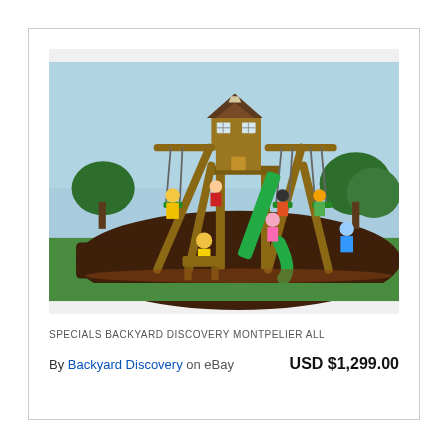[Figure (photo): Photo of a large wooden backyard playset/swing set with a slide (green), swings, a playhouse tower with roof and windows, children playing on it, set on dark mulch with green lawn and blue sky background.]
SPECIALS BACKYARD DISCOVERY MONTPELIER ALL
By Backyard Discovery  on eBay     USD $1,299.00